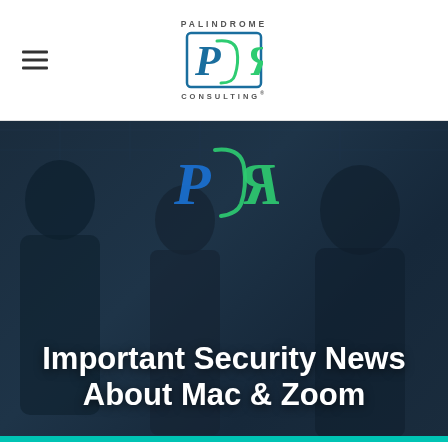PALINDROME CONSULTING
[Figure (photo): Dark hero image showing three people in business attire having a conversation in a server room or office, overlaid with a teal/blue color wash. A large Palindrome Consulting logo (PCR monogram) is centered in the middle of the image.]
Important Security News About Mac & Zoom